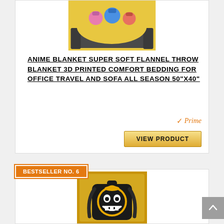[Figure (photo): Anime blanket product photo showing a yellow flannel throw blanket with cartoon characters printed on it, draped over a couch.]
ANIME BLANKET SUPER SOFT FLANNEL THROW BLANKET 3D PRINTED COMFORT BEDDING FOR OFFICE TRAVEL AND SOFA ALL SEASON 50"X40"
[Figure (logo): Amazon Prime badge with orange checkmark and italic Prime text]
VIEW PRODUCT
BESTSELLER NO. 6
[Figure (photo): Black backpack with Bendy and the Ink Machine character printed on a golden background, shown from the front.]